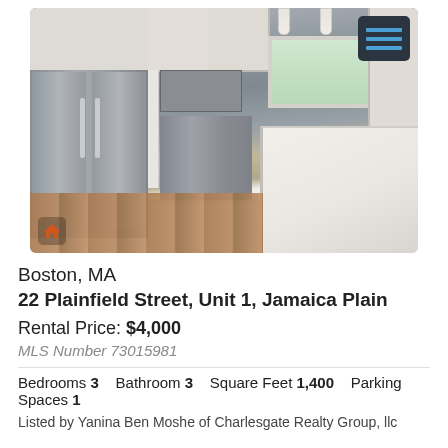[Figure (photo): Interior kitchen photo showing stainless steel refrigerator, range/stove, white shaker cabinets, subway tile backsplash, white marble kitchen island, hardwood floors, and a window above the sink.]
Boston, MA
22 Plainfield Street, Unit 1, Jamaica Plain
Rental Price: $4,000
MLS Number 73015981
Bedrooms 3   Bathroom 3   Square Feet 1,400   Parking Spaces 1
Listed by Yanina Ben Moshe of Charlesgate Realty Group, llc